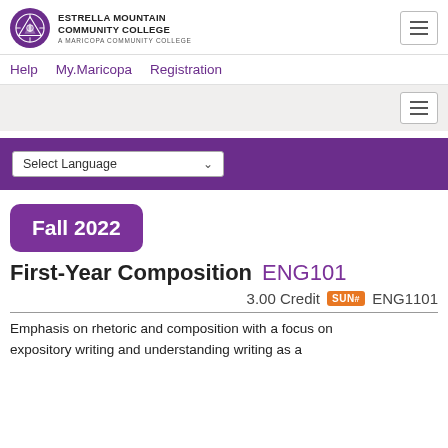[Figure (logo): Estrella Mountain Community College logo — purple circle with compass/mountain icon, college name and 'A Maricopa Community College' subtitle]
Help   My.Maricopa   Registration
Select Language
Fall 2022
First-Year Composition  ENG101
3.00 Credit  SUN# ENG1101
Emphasis on rhetoric and composition with a focus on expository writing and understanding writing as a